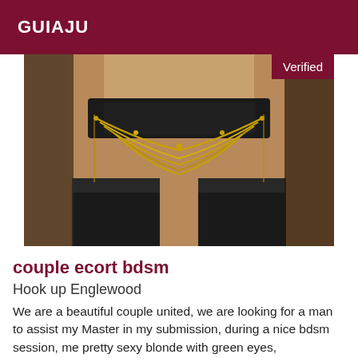GUIAJU
[Figure (photo): Close-up photo of a person wearing black lace lingerie with gold chain body jewelry and black stockings]
couple ecort bdsm
Hook up Englewood
We are a beautiful couple united, we are looking for a man to assist my Master in my submission, during a nice bdsm session, me pretty sexy blonde with green eyes,